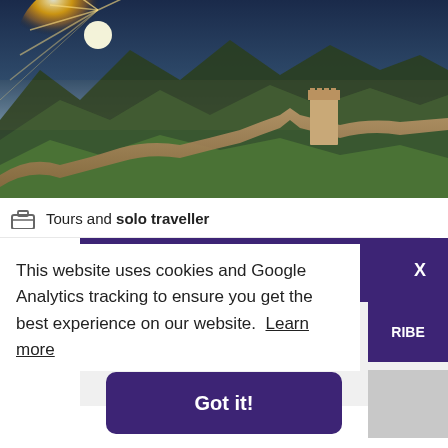[Figure (photo): Aerial photograph of the Great Wall of China at sunrise with golden sun rays over mountains and green hills]
Tours and solo traveller
✉ Stay updated
Be the first to hear about our latest offers and promotions.
This website uses cookies and Google Analytics tracking to ensure you get the best experience on our website. Learn more
RIBE
Got it!